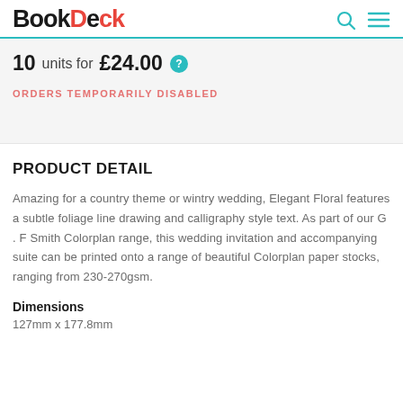BookDeck
10 units for £24.00
ORDERS TEMPORARILY DISABLED
PRODUCT DETAIL
Amazing for a country theme or wintry wedding, Elegant Floral features a subtle foliage line drawing and calligraphy style text. As part of our G. F Smith Colorplan range, this wedding invitation and accompanying suite can be printed onto a range of beautiful Colorplan paper stocks, ranging from 230-270gsm.
Dimensions
127mm x 177.8mm